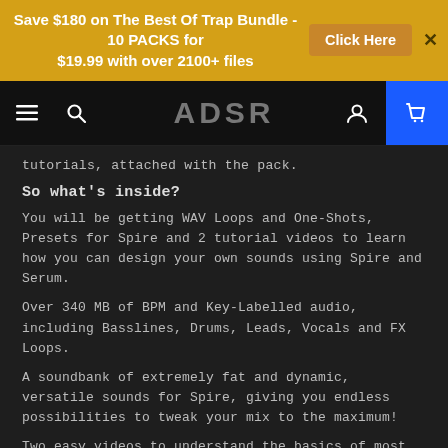Save $180 on The Best Of Trap Bundle - 10 PACKS for $19.99 with over 2100+ files | Click Here
ADSR navigation bar
tutorials, attached with the pack.
So what's inside?
You will be getting WAV Loops and One-Shots, Presets for Spire and 2 tutorial videos to learn how you can design your own sounds using Spire and Serum.
Over 340 MB of BPM and Key-Labelled audio, including Basslines, Drums, Leads, Vocals and FX Loops.
A soundbank of extremely fat and dynamic, versatile sounds for Spire, giving you endless possibilities to tweak your mix to the maximum!
Two easy videos to understand the basics of most popular synths today. We think we said enough?